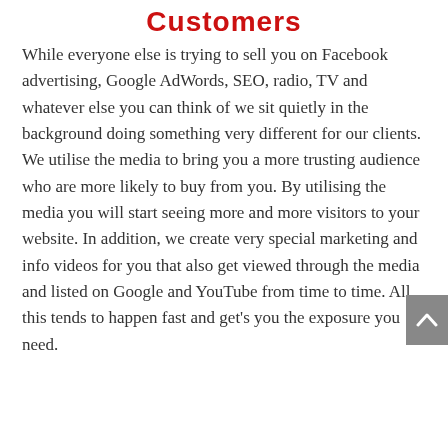Customers
While everyone else is trying to sell you on Facebook advertising, Google AdWords, SEO, radio, TV and whatever else you can think of we sit quietly in the background doing something very different for our clients. We utilise the media to bring you a more trusting audience who are more likely to buy from you. By utilising the media you will start seeing more and more visitors to your website. In addition, we create very special marketing and info videos for you that also get viewed through the media and listed on Google and YouTube from time to time. All this tends to happen fast and get's you the exposure you need.